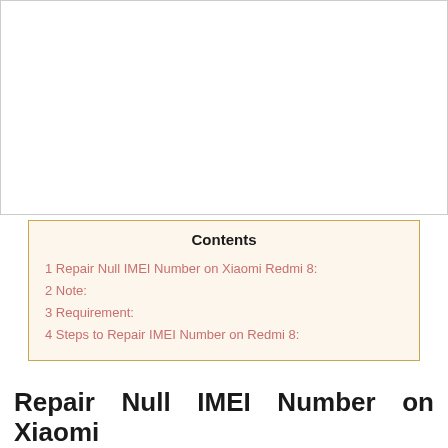[Figure (photo): Blank white image area placeholder at the top of the page]
| Contents |
| --- |
| 1 Repair Null IMEI Number on Xiaomi Redmi 8: |
| 2 Note: |
| 3 Requirement: |
| 4 Steps to Repair IMEI Number on Redmi 8: |
Repair Null IMEI Number on Xiaomi